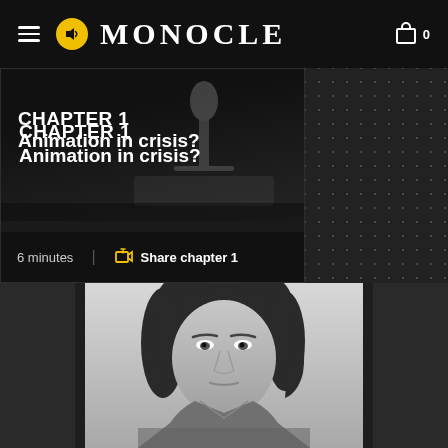MONOCLE
CHAPTER 1
Animation in crisis?
6 minutes
Share chapter 1
[Figure (photo): Black and white portrait photograph of a middle-aged man with shoulder-length hair wearing a patterned shirt, looking directly at camera with a neutral expression]